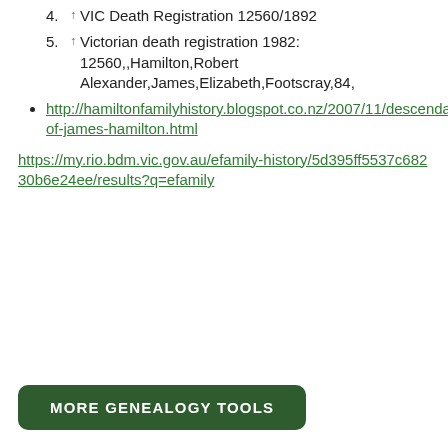4. ↑ VIC Death Registration 12560/1892
5. ↑ Victorian death registration 1982: 12560,,Hamilton,Robert Alexander,James,Elizabeth,Footscray,84,
http://hamiltonfamilyhistory.blogspot.co.nz/2007/11/descendants-of-james-hamilton.html
https://my.rio.bdm.vic.gov.au/efamily-history/5d395ff5537c68230b6e24ee/results?q=efamily
MORE GENEALOGY TOOLS